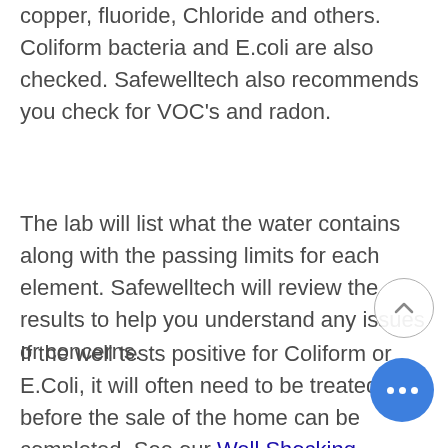copper, fluoride, Chloride and others. Coliform bacteria and E.coli are also checked. Safewelltech also recommends you check for VOC's and radon.
The lab will list what the water contains along with the passing limits for each element. Safewelltech will review the results to help you understand any issues or concerns.
If the well tests positive for Coliform or E.Coli, it will often need to be treated before the sale of the home can be completed. See our Well Shocking Service page for more